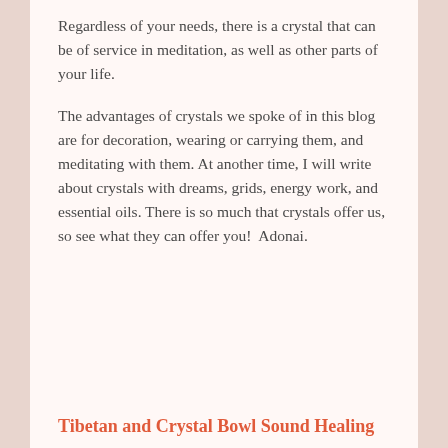Regardless of your needs, there is a crystal that can be of service in meditation, as well as other parts of your life.
The advantages of crystals we spoke of in this blog are for decoration, wearing or carrying them, and meditating with them. At another time, I will write about crystals with dreams, grids, energy work, and essential oils. There is so much that crystals offer us, so see what they can offer you!  Adonai.
Tibetan and Crystal Bowl Sound Healing